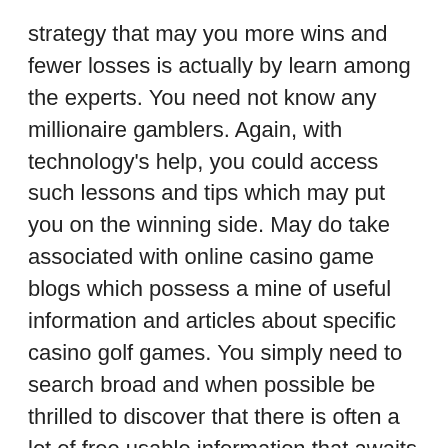strategy that may you more wins and fewer losses is actually by learn among the experts. You need not know any millionaire gamblers. Again, with technology's help, you could access such lessons and tips which may put you on the winning side. May do take associated with online casino game blogs which possess a mine of useful information and articles about specific casino golf games. You simply need to search broad and when possible be thrilled to discover that there is often a lot of free usable information that awaits any person.
Baccarat. For you to play farmville the player makes a bet before any cards are put up. Money is either put on the gamer winning or on the dealership winning. Then you should the cards are dealt and video game continues until there is a winner.
Note               Alarm will enquire about all programs